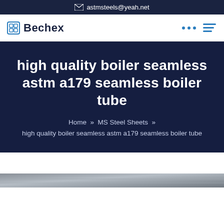astmsteels@yeah.net
[Figure (logo): Bechex logo with square icon and bold text]
high quality boiler seamless astm a179 seamless boiler tube
Home » MS Steel Sheets » high quality boiler seamless astm a179 seamless boiler tube
[Figure (photo): Partial photo of steel tubes/pipes at bottom of page]